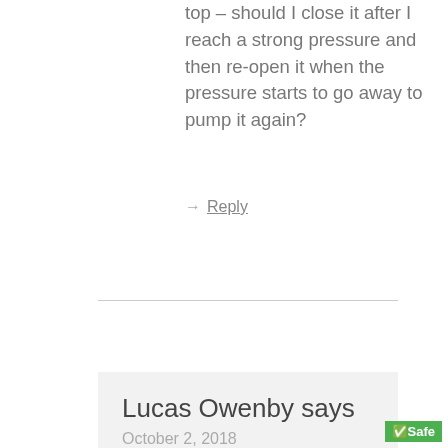top – should I close it after I reach a strong pressure and then re-open it when the pressure starts to go away to pump it again?
→ Reply
Lucas Owenby says
October 2, 2018